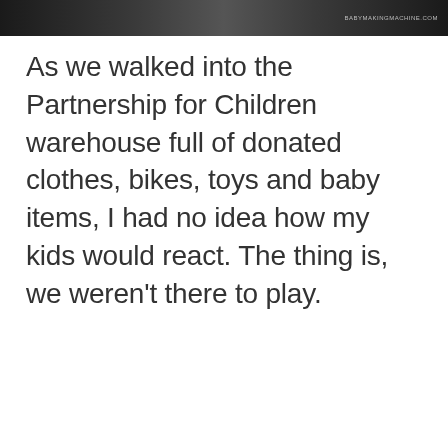[Figure (photo): Black and white photo strip at the top of the page with a watermark reading BABYMAKINGMACHINE.COM in the top right corner]
As we walked into the Partnership for Children warehouse full of donated clothes, bikes, toys and baby items, I had no idea how my kids would react. The thing is, we weren't there to play.